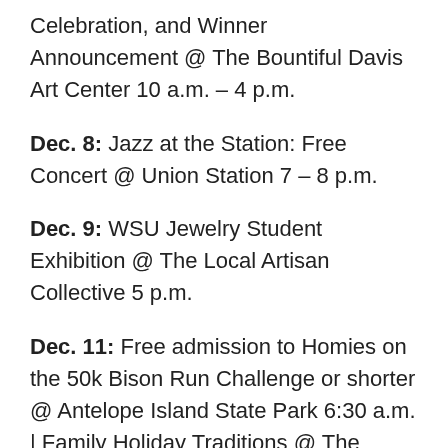Celebration, and Winner Announcement @ The Bountiful Davis Art Center 10 a.m. – 4 p.m.
Dec. 8: Jazz at the Station: Free Concert @ Union Station 7 – 8 p.m.
Dec. 9: WSU Jewelry Student Exhibition @ The Local Artisan Collective 5 p.m.
Dec. 11: Free admission to Homies on the 50k Bison Run Challenge or shorter @ Antelope Island State Park 6:30 a.m. | Family Holiday Traditions @ The Eccles Art Center 3 – 6 p.m. $20 per family.